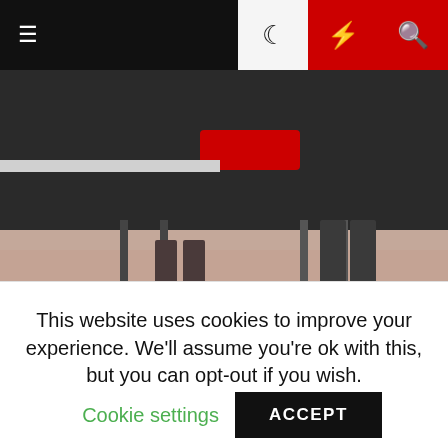Navigation bar with hamburger menu, moon icon, bolt icon, search icon
[Figure (photo): Cropped photo showing legs and feet of people seated on a TV studio set, with tiled floor and steps visible. One person wears high heels, another wears flat shoes.]
Orwell and his wife were accused of "rabid Trotskyism" and tried in absentia in Barcelona, along with other leaders of the POUM, in Heitor Aquino Ferreira Translator. I guess this book is a masterpiece?
This website uses cookies to improve your experience. We'll assume you're ok with this, but you can opt-out if you wish. Cookie settings ACCEPT